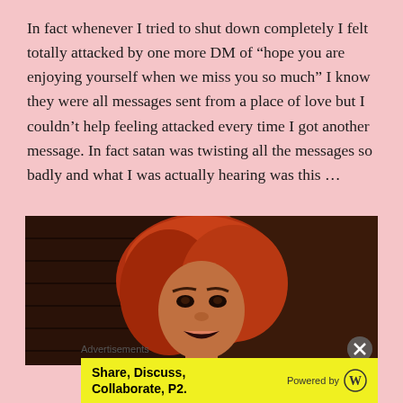In fact whenever I tried to shut down completely I felt totally attacked by one more DM of “hope you are enjoying yourself when we miss you so much” I know they were all messages sent from a place of love but I couldn’t help feeling attacked every time I got another message. In fact satan was twisting all the messages so badly and what I was actually hearing was this …
[Figure (photo): A woman with long reddish-orange hair looking intense/angry, appears to be a TV show screenshot, dark background with what looks like brick wall]
Advertisements
Share, Discuss, Collaborate, P2.    Powered by [WordPress logo]